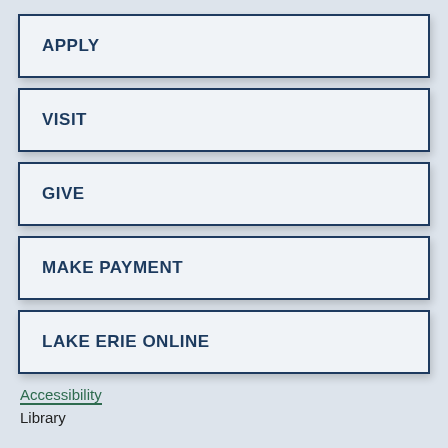APPLY
VISIT
GIVE
MAKE PAYMENT
LAKE ERIE ONLINE
Accessibility
Library